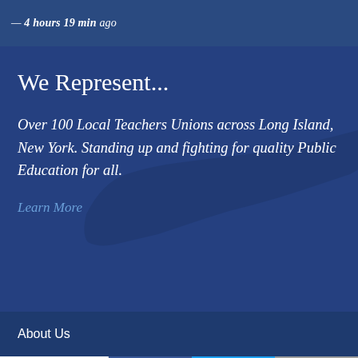— 4 hours 19 min ago
We Represent...
Over 100 Local Teachers Unions across Long Island, New York. Standing up and fighting for quality Public Education for all.
Learn More
About Us
0 SHARES